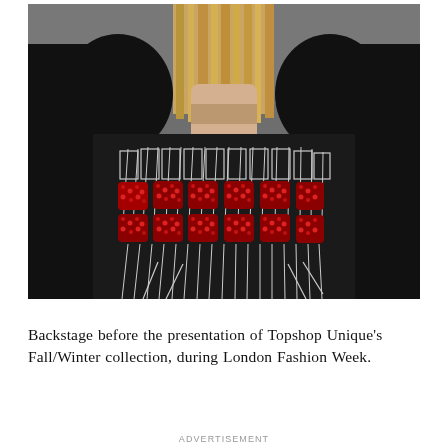[Figure (photo): Close-up backstage photo of a model wearing a black top/sweatshirt with white geometric line embroidery and red textured/sequined lettering on the chest, with blonde hair visible. Background is blurred grey concrete wall. Topshop Unique Fall/Winter London Fashion Week.]
Backstage before the presentation of Topshop Unique's Fall/Winter collection, during London Fashion Week.
ADVERTISEMENT